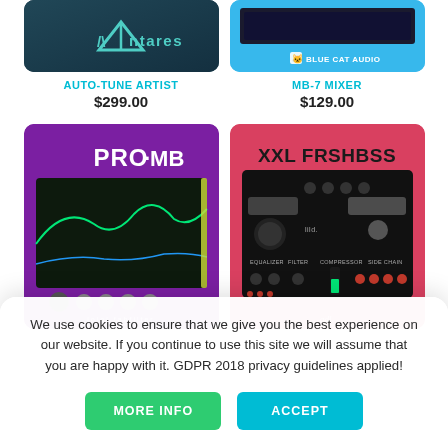[Figure (screenshot): Antares Auto-Tune Artist product thumbnail — dark teal background with Antares logo]
[Figure (screenshot): Blue Cat Audio MB-7 Mixer product thumbnail — blue background with plugin interface and Blue Cat Audio logo]
AUTO-TUNE ARTIST
$299.00
MB-7 MIXER
$129.00
[Figure (screenshot): FabFilter Pro-MB multiband compressor plugin screenshot on purple background]
[Figure (screenshot): XXL FRSHBSS plugin UI on red/pink background]
We use cookies to ensure that we give you the best experience on our website. If you continue to use this site we will assume that you are happy with it. GDPR 2018 privacy guidelines applied!
MORE INFO
ACCEPT